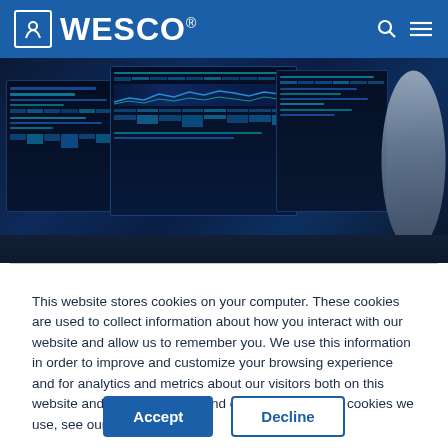WESCO
[Figure (photo): Person viewed from behind looking at multiple computer monitors displaying dashboards and data in a dark control room environment]
This website stores cookies on your computer. These cookies are used to collect information about how you interact with our website and allow us to remember you. We use this information in order to improve and customize your browsing experience and for analytics and metrics about our visitors both on this website and other media. To find out more about the cookies we use, see our Privacy Policy.
Accept
Decline